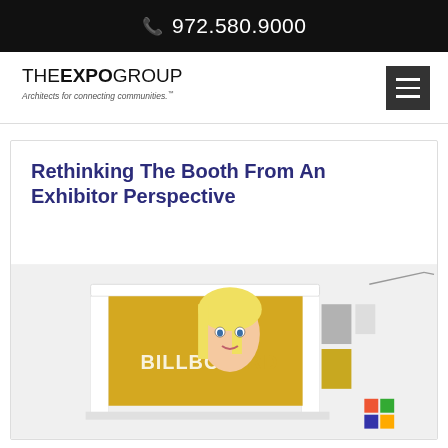972.580.9000
[Figure (logo): THE EXPO GROUP logo with tagline 'Architects for connecting communities.']
[Figure (other): Hamburger menu button (three horizontal lines on dark background)]
Rethinking The Booth From An Exhibitor Perspective
[Figure (photo): Trade show booth display with Billboard branding, showing a woman's face and colorful panels]